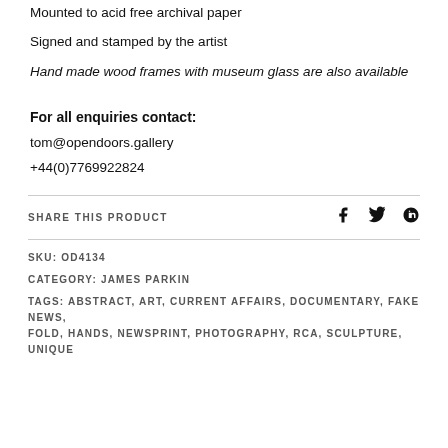Mounted to acid free archival paper
Signed and stamped by the artist
Hand made wood frames with museum glass are also available
For all enquiries contact:
tom@opendoors.gallery
+44(0)7769922824
SHARE THIS PRODUCT
SKU: OD4134
CATEGORY: JAMES PARKIN
TAGS: ABSTRACT, ART, CURRENT AFFAIRS, DOCUMENTARY, FAKE NEWS, FOLD, HANDS, NEWSPRINT, PHOTOGRAPHY, RCA, SCULPTURE, UNIQUE